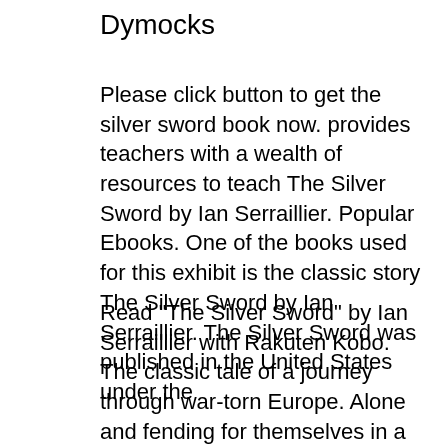Dymocks
Please click button to get the silver sword book now. provides teachers with a wealth of resources to teach The Silver Sword by Ian Serraillier. Popular Ebooks. One of the books used for this exhibit is the classic story The Silver Sword by Ian Serraillier. The Silver Sword was published in the United States under the
Read "The Silver Sword" by Ian Serraillier with Rakuten Kobo. The classic tale of a journey through war-torn Europe. Alone and fending for themselves in a Poland Written by Ian Serraillier, narrated by Sean Barrett.